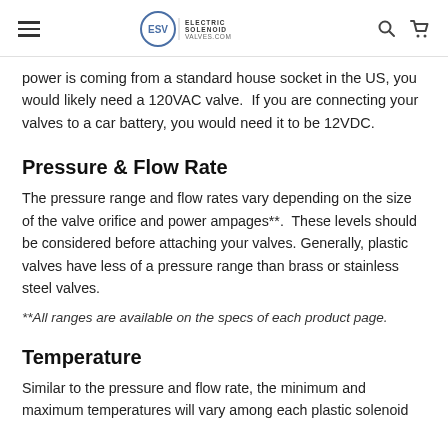Electric Solenoid Valves - ESV - electricsolenoidvalves.com
power is coming from a standard house socket in the US, you would likely need a 120VAC valve.  If you are connecting your valves to a car battery, you would need it to be 12VDC.
Pressure & Flow Rate
The pressure range and flow rates vary depending on the size of the valve orifice and power ampages**.  These levels should be considered before attaching your valves. Generally, plastic valves have less of a pressure range than brass or stainless steel valves.
**All ranges are available on the specs of each product page.
Temperature
Similar to the pressure and flow rate, the minimum and maximum temperatures will vary among each plastic solenoid